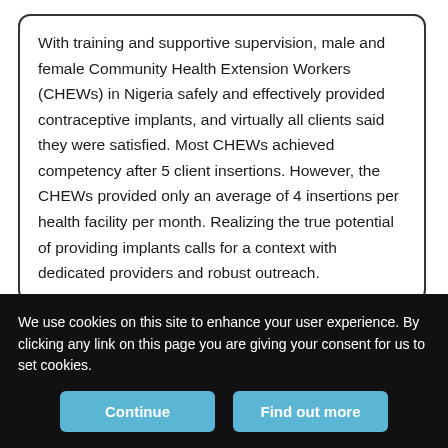With training and supportive supervision, male and female Community Health Extension Workers (CHEWs) in Nigeria safely and effectively provided contraceptive implants, and virtually all clients said they were satisfied. Most CHEWs achieved competency after 5 client insertions. However, the CHEWs provided only an average of 4 insertions per health facility per month. Realizing the true potential of providing implants calls for a context with dedicated providers and robust outreach.
Abstract
Background: Contraceptive use remains low in Nigeria, with only 11% of women reporting use of any modern method. Access to long-
We use cookies on this site to enhance your user experience. By clicking any link on this page you are giving your consent for us to set cookies.